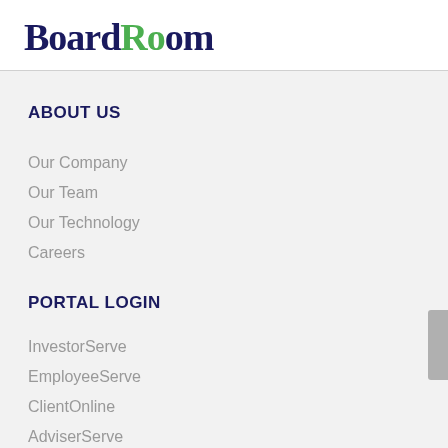BoardRoom
ABOUT US
Our Company
Our Team
Our Technology
Careers
PORTAL LOGIN
InvestorServe
EmployeeServe
ClientOnline
AdviserServe
CustodyServe